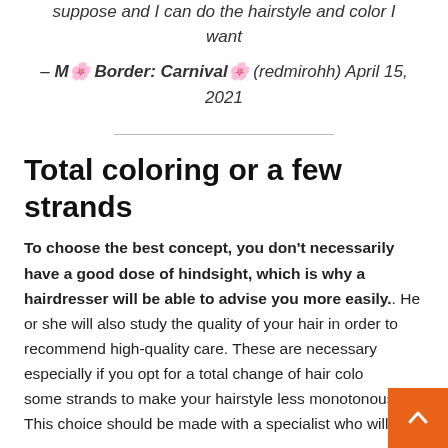suppose and I can do the hairstyle and color I want
– M🌸 Border: Carnival🌸 (redmirohh) April 15, 2021
Total coloring or a few strands
To choose the best concept, you don't necessarily have a good dose of hindsight, which is why a hairdresser will be able to advise you more easily.. He or she will also study the quality of your hair in order to recommend high-quality care. These are necessary especially if you opt for a total change of hair color or some strands to make your hairstyle less monotonous. This choice should be made with a specialist who will